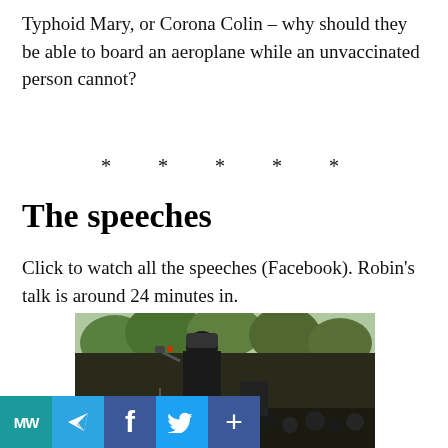Typhoid Mary, or Corona Colin – why should they be able to board an aeroplane while an unvaccinated person cannot?
* * * * *
The speeches
Click to watch all the speeches (Facebook). Robin's talk is around 24 minutes in.
[Figure (photo): A person speaking into a microphone at an outdoor rally, with a crowd and trees in the background.]
[Figure (infographic): Social media sharing toolbar with buttons: MW, Telegram, Facebook, Twitter, and a plus/share button.]